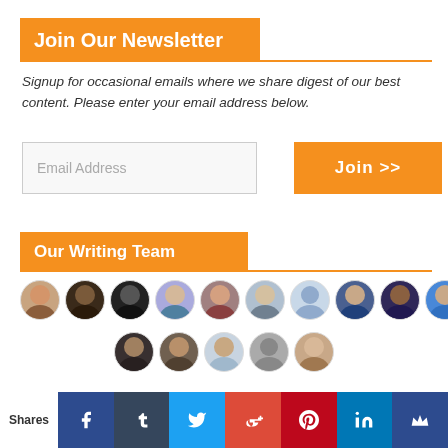Join Our Newsletter
Signup for occasional emails where we share digest of our best content. Please enter your email address below.
[Figure (screenshot): Email address input field with placeholder text 'Email Address' and an orange 'Join >>' button]
Our Writing Team
[Figure (photo): Two rows of circular avatar photos of writing team members, 11 in the first row and 5 in the second row]
[Figure (infographic): Social sharing bar at the bottom with icons for Facebook, Tumblr, Twitter, Google+, Pinterest, LinkedIn, and a crown icon. Left side shows 'Shares' label.]